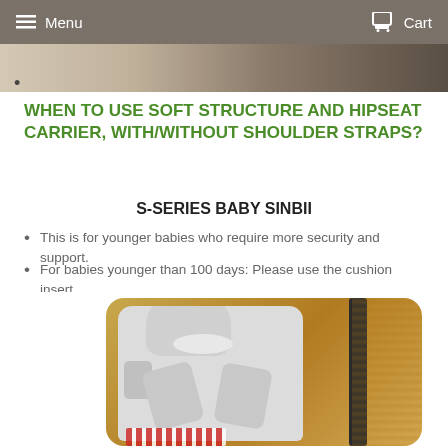Menu  Cart
[Figure (photo): Partial product image strip at top of page showing baby carrier product]
WHEN TO USE SOFT STRUCTURE AND HIPSEAT CARRIER, WITH/WITHOUT SHOULDER STRAPS?
S-SERIES BABY SINBII
This is for younger babies who require more security and support.
For babies younger than 100 days: Please use the cushion insert.
[Figure (photo): Photo of a baby in a light grey hooded outfit sitting in an orange/amber knitted baby carrier seat with dark straps]